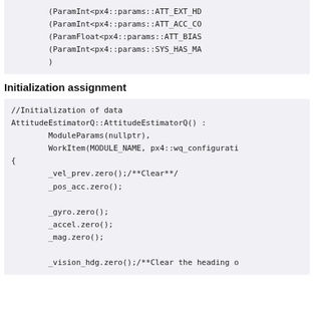(ParamInt<px4::params::ATT_EXT_HD
(ParamInt<px4::params::ATT_ACC_CO
(ParamFloat<px4::params::ATT_BIAS
(ParamInt<px4::params::SYS_HAS_MA
)
Initialization assignment
//Initialization of data
AttitudeEstimatorQ::AttitudeEstimatorQ() :
        ModuleParams(nullptr),
        WorkItem(MODULE_NAME, px4::wq_configurati
{
        _vel_prev.zero();/**Clear**/
        _pos_acc.zero();

        _gyro.zero();
        _accel.zero();
        _mag.zero();

        _vision_hdg.zero();/**Clear the heading o